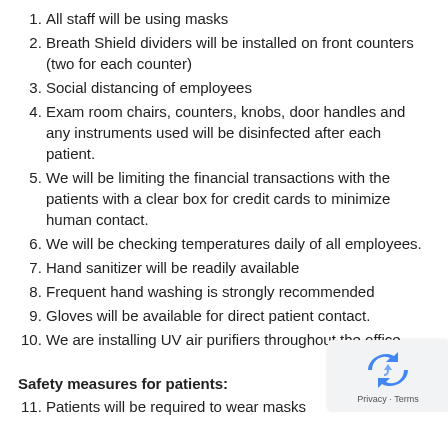1. All staff will be using masks
2. Breath Shield dividers will be installed on front counters (two for each counter)
3. Social distancing of employees
4. Exam room chairs, counters, knobs, door handles and any instruments used will be disinfected after each patient.
5. We will be limiting the financial transactions with the patients with a clear box for credit cards to minimize human contact.
6. We will be checking temperatures daily of all employees.
7. Hand sanitizer will be readily available
8. Frequent hand washing is strongly recommended
9. Gloves will be available for direct patient contact.
10. We are installing UV air purifiers throughout the office.
Safety measures for patients:
1. Patients will be required to wear masks